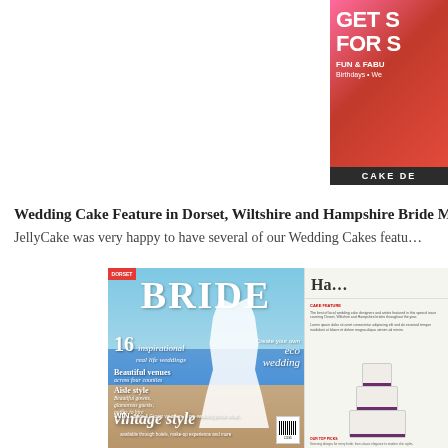[Figure (photo): Partial view of a magazine or book cover in the top-right corner, showing text 'GET S FOR S FUN & FABU Birthdays • We CAKE DE' with red/pink background and white text]
Wedding Cake Feature in Dorset, Wiltshire and Hampshire Bride Ma…
JellyCake was very happy to have several of our Wedding Cakes featu…
[Figure (photo): Two magazine images side by side. Left: Cover of BRIDE magazine showing a woman in a white wedding dress on a beach, with text '16 inspirational real life weddings', 'Beautiful venues across four counties', 'Aisle style Beautiful gowns, glamorous guests, outfits to hire', 'vintage style', 'WIN'. Right: Interior page of the magazine showing 'Ha…' header and an image of a white wedding cake with purple/dark ribbon decoration.]